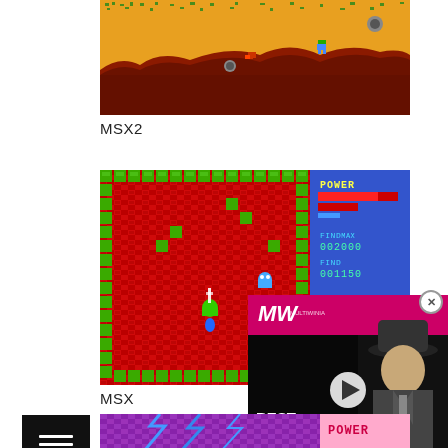[Figure (screenshot): MSX2 retro game screenshot showing a yellow desert landscape with pixel art character, enemies, and rocky terrain]
MSX2
[Figure (screenshot): MSX retro game screenshot with red dungeon tilemap, green blocks, blue ghost enemies, and HUD showing POWER bar, FIND MAX 002000, FIND 001150]
MSX
[Figure (screenshot): Video overlay thumbnail showing BEST MYSTERY GAMES with a 3D character in a hat and suit, MW logo in pink, play button]
[Figure (screenshot): Partial MSX game screenshot at bottom showing purple/pink pixel art with POWER text]